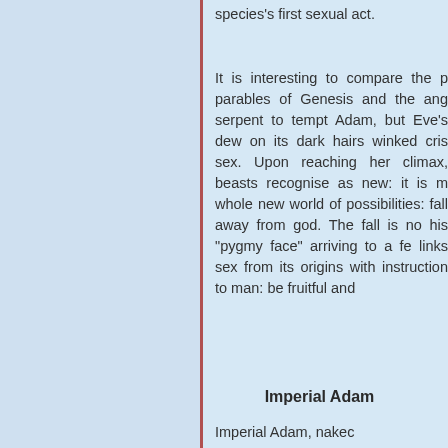species's first sexual act.
It is interesting to compare the parables of Genesis and the ang serpent to tempt Adam, but Eve's dew on its dark hairs winked cri sex. Upon reaching her climax, beasts recognise as new: it is m whole new world of possibilities: fall away from god. The fall is no his “pygmy face” arriving to a fe links sex from its origins with instruction to man: be fruitful and
Imperial Adam
Imperial Adam, naked